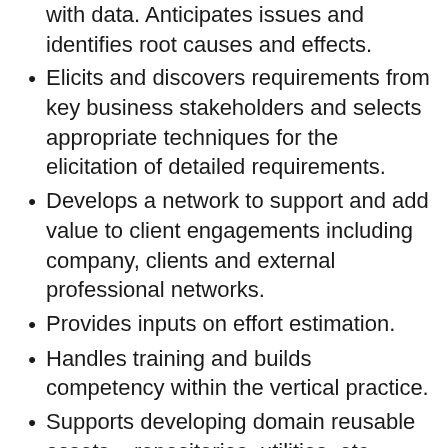with data. Anticipates issues and identifies root causes and effects.
Elicits and discovers requirements from key business stakeholders and selects appropriate techniques for the elicitation of detailed requirements.
Develops a network to support and add value to client engagements including company, clients and external professional networks.
Provides inputs on effort estimation.
Handles training and builds competency within the vertical practice.
Supports developing domain reusable assets – repositories, utilities, etc.
Qualifications: